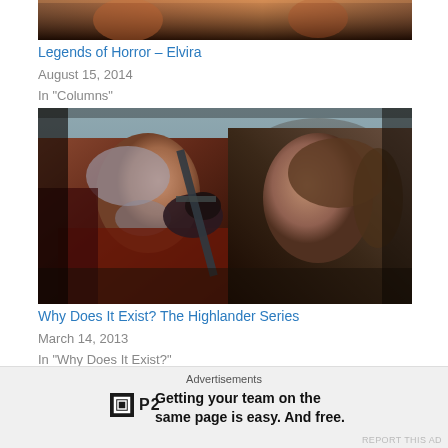[Figure (photo): Partial top image, cropped, showing a dark reddish scene]
Legends of Horror – Elvira
August 15, 2014
In "Columns"
[Figure (photo): Two figures facing each other with a sword between them, from the Highlander series. An older man on the left wearing medieval armor and a younger man on the right, outdoors with rocks in the background.]
Why Does It Exist? The Highlander Series
March 14, 2013
In "Why Does It Exist?"
Advertisements
[Figure (logo): P2 logo — a small square icon with a square inside, followed by bold text 'P2']
Getting your team on the same page is easy. And free.